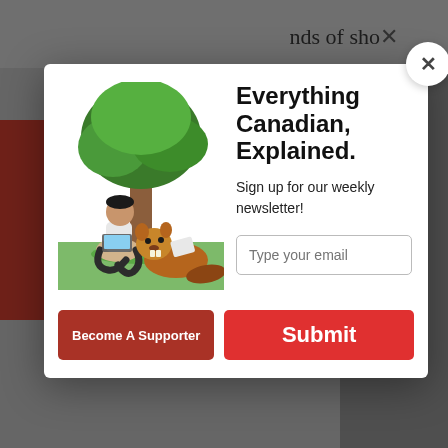[Figure (screenshot): Screenshot of a website with a newsletter signup modal overlay. The modal shows an illustration of a person and a beaver under a tree, with the title 'Everything Canadian, Explained.' and a subtitle 'Sign up for our weekly newsletter!', an email input field, and a red Submit button. Below the modal is partial article text and a teal subscription bar.]
Everything Canadian, Explained.
Sign up for our weekly newsletter!
Type your email
Submit
CANADA'S CONVERSATION
Become A Supporter
But emulating the pace and, more important,
For just $10 a month, you can